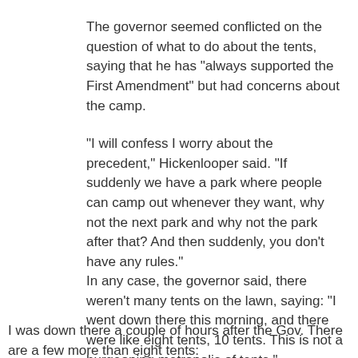The governor seemed conflicted on the question of what to do about the tents, saying that he has "always supported the First Amendment" but had concerns about the camp.
"I will confess I worry about the precedent," Hickenlooper said. "If suddenly we have a park where people can camp out whenever they want, why not the next park and why not the park after that? And then suddenly, you don't have any rules."
In any case, the governor said, there weren't many tents on the lawn, saying: "I went down there this morning, and there were like eight tents, 10 tents. This is not a burgeoning metropolis of tents."
I was down there a couple of hours after the Gov. There are a few more than eight tents: